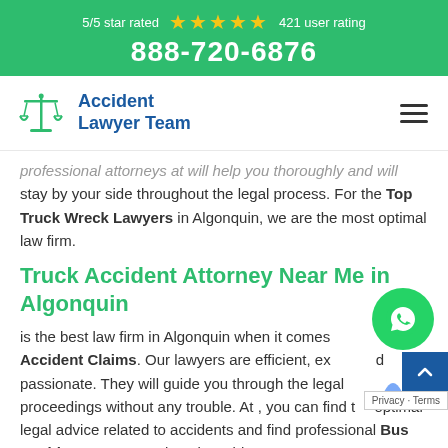5/5 star rated ★★★★★ 421 user rating
888-720-6876
[Figure (logo): Accident Lawyer Team logo with scales of justice icon and hamburger menu]
professional attorneys at will help you thoroughly and will stay by your side throughout the legal process. For the Top Truck Wreck Lawyers in Algonquin, we are the most optimal law firm.
Truck Accident Attorney Near Me in Algonquin
is the best law firm in Algonquin when it comes to Truck Accident Claims. Our lawyers are efficient, experienced and passionate. They will guide you through the legal proceedings without any trouble. At , you can find the optimal legal advice related to accidents and find professional Bus Accident Lawyer and truck accident